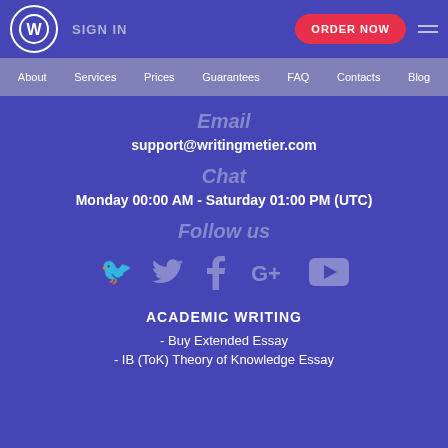SIGN IN | ORDER NOW
About | Services | Prices | Guarantees | FAQ | Contacts | Blog
Email
support@writingmetier.com
Chat
Monday 00:00 AM - Saturday 01:00 PM (UTC)
Follow us
[Figure (other): Social media icons: Twitter, Facebook, Google+, YouTube]
ACADEMIC WRITING
- Buy Extended Essay
- IB (ToK) Theory of Knowledge Essay